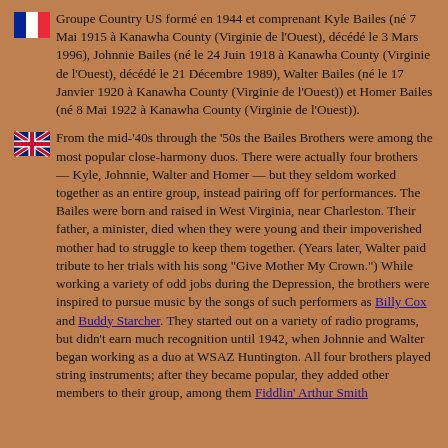🇫🇷 Groupe Country US formé en 1944 et comprenant Kyle Bailes (né 7 Mai 1915 à Kanawha County (Virginie de l'Ouest), décédé le 3 Mars 1996), Johnnie Bailes (né le 24 Juin 1918 à Kanawha County (Virginie de l'Ouest), décédé le 21 Décembre 1989), Walter Bailes (né le 17 Janvier 1920 à Kanawha County (Virginie de l'Ouest)) et Homer Bailes (né 8 Mai 1922 à Kanawha County (Virginie de l'Ouest)).
🇬🇧 From the mid-'40s through the '50s the Bailes Brothers were among the most popular close-harmony duos. There were actually four brothers — Kyle, Johnnie, Walter and Homer — but they seldom worked together as an entire group, instead pairing off for performances. The Bailes were born and raised in West Virginia, near Charleston. Their father, a minister, died when they were young and their impoverished mother had to struggle to keep them together. (Years later, Walter paid tribute to her trials with his song "Give Mother My Crown.") While working a variety of odd jobs during the Depression, the brothers were inspired to pursue music by the songs of such performers as Billy Cox and Buddy Starcher. They started out on a variety of radio programs, but didn't earn much recognition until 1942, when Johnnie and Walter began working as a duo at WSAZ Huntington. All four brothers played string instruments; after they became popular, they added other members to their group, among them Fiddlin' Arthur Smith